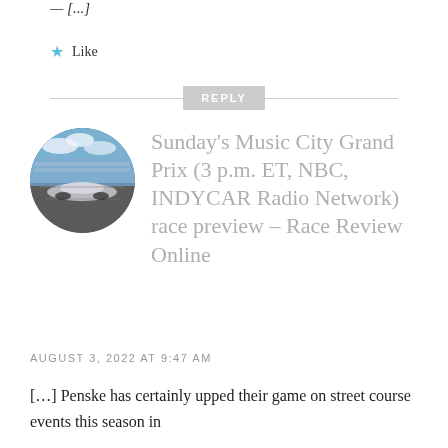★ Like
REPLY
[Figure (photo): Circular avatar photo showing a racing car (IndyCar) speeding on a street circuit track with grandstands in background]
Sunday's Music City Grand Prix (3 p.m. ET, NBC, INDYCAR Radio Network) race preview – Race Review Online
AUGUST 3, 2022 AT 9:47 AM
[…] Penske has certainly upped their game on street course events this season in